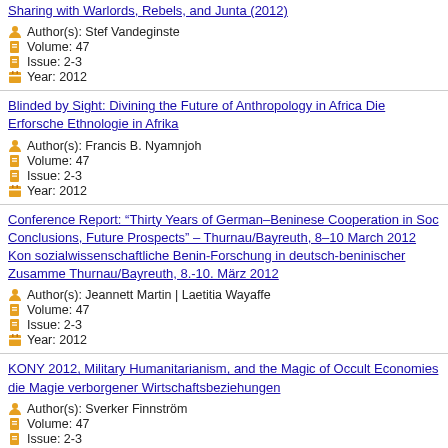Sharing with Warlords, Rebels, and Junta (2012)
Author(s): Stef Vandeginste
Volume: 47
Issue: 2-3
Year: 2012
Blinded by Sight: Divining the Future of Anthropology in Africa Die Erforschung der Ethnologie in Afrika
Author(s): Francis B. Nyamnjoh
Volume: 47
Issue: 2-3
Year: 2012
Conference Report: “Thirty Years of German–Beninese Cooperation in Soc Conclusions, Future Prospects” – Thurnau/Bayreuth, 8–10 March 2012 Kon sozialwissenschaftliche Benin-Forschung in deutsch-beninischer Zusamme Thurnau/Bayreuth, 8.-10. März 2012
Author(s): Jeannett Martin | Laetitia Wayaffe
Volume: 47
Issue: 2-3
Year: 2012
KONY 2012, Military Humanitarianism, and the Magic of Occult Economies die Magie verborgener Wirtschaftsbeziehungen
Author(s): Sverker Finnström
Volume: 47
Issue: 2-3